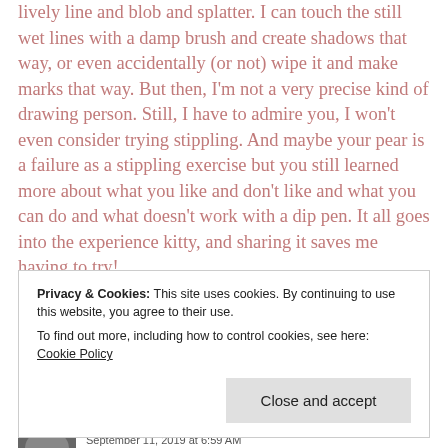lively line and blob and splatter. I can touch the still wet lines with a damp brush and create shadows that way, or even accidentally (or not) wipe it and make marks that way. But then, I'm not a very precise kind of drawing person. Still, I have to admire you, I won't even consider trying stippling. And maybe your pear is a failure as a stippling exercise but you still learned more about what you like and don't like and what you can do and what doesn't work with a dip pen. It all goes into the experience kitty, and sharing it saves me having to try!
Privacy & Cookies: This site uses cookies. By continuing to use this website, you agree to their use.
To find out more, including how to control cookies, see here: Cookie Policy
Close and accept
September 11, 2019 at 6:59 AM